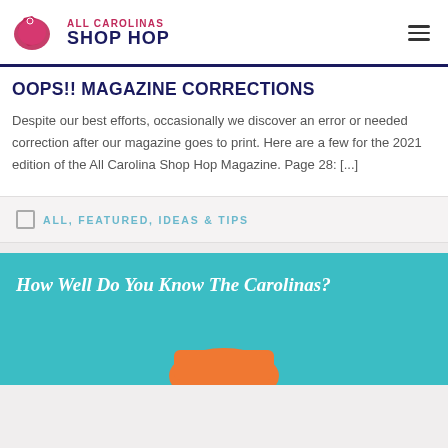ALL CAROLINAS SHOP HOP
OOPS!! MAGAZINE CORRECTIONS
Despite our best efforts, occasionally we discover an error or needed correction after our magazine goes to print. Here are a few for the 2021 edition of the All Carolina Shop Hop Magazine. Page 28: [...]
ALL, FEATURED, IDEAS & TIPS
How Well Do You Know The Carolinas?